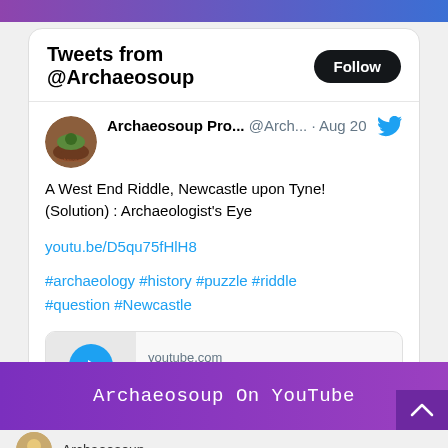[Figure (screenshot): Purple-to-blue gradient top bar of a website]
Tweets from @Archaeosoup
Follow
Archaeosoup Pro... @Arch... · Aug 20
A West End Riddle, Newcastle upon Tyne! (Solution) : Archaeologist's Eye
youtu.be/D5qu75fHlH8
#archaeology #history #puzzle #riddle #question #Newcastle
youtube.com
A West End Riddle,
Archaeosoup On YouTube
Archaeosoup